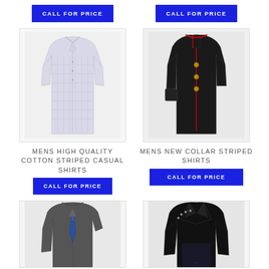[Figure (other): Call for Price button top left]
[Figure (other): Call for Price button top right]
[Figure (photo): Light blue/white checked casual long-sleeve shirt on white background]
[Figure (photo): Black formal shirt with red trim and gold buttons on white background]
MENS HIGH QUALITY COTTON STRIPED CASUAL SHIRTS
MENS NEW COLLAR STRIPED SHIRTS
[Figure (other): Call for Price button under left shirt]
[Figure (other): Call for Price button under right shirt]
[Figure (photo): Dark grey casual long-sleeve shirt with blue tie on white background]
[Figure (photo): Black jacket/shirt with studded shoulder detail on white background]